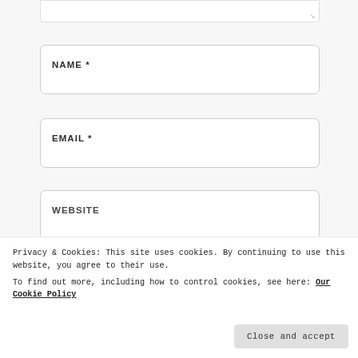[Figure (screenshot): Partial text input area (textarea bottom edge with resize handle)]
NAME *
EMAIL *
WEBSITE
POST COMMENT
Privacy & Cookies: This site uses cookies. By continuing to use this website, you agree to their use.
To find out more, including how to control cookies, see here: Our Cookie Policy
Close and accept
how your comment data is processed.